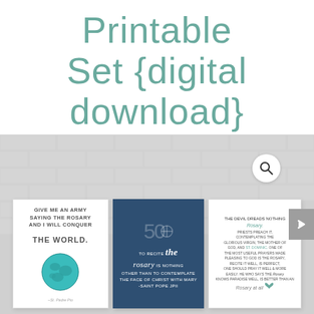Printable Set {digital download}
[Figure (illustration): Product listing image showing three rosary-themed printable cards on a grey brick-wall background. Card 1 (white): 'Give me an army saying the rosary and I will conquer the world' with globe illustration. Card 2 (navy blue): '50 To recite the rosary is nothing other than to contemplate the face of Christ with Mary -Saint Pope JPII'. Card 3 (white): text about the rosary in small script. A magnifying glass search icon appears in a white circle at top right. A grey navigation arrow button is on the far right.]